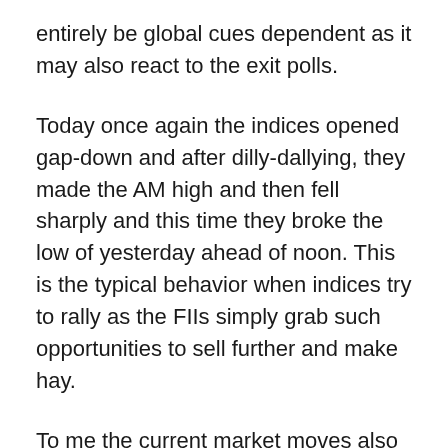entirely be global cues dependent as it may also react to the exit polls.
Today once again the indices opened gap-down and after dilly-dallying, they made the AM high and then fell sharply and this time they broke the low of yesterday ahead of noon. This is the typical behavior when indices try to rally as the FIIs simply grab such opportunities to sell further and make hay.
To me the current market moves also test the decision-making abilities of traders in particular as making money in such situations where volatility is intense with fast and wide spreads is not an easy task irrespective of which side one is trading.